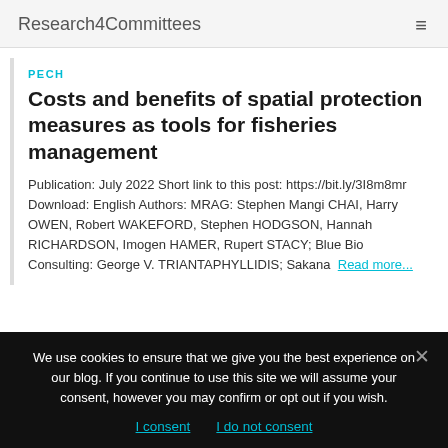Research4Committees
PECH
Costs and benefits of spatial protection measures as tools for fisheries management
Publication: July 2022 Short link to this post: https://bit.ly/3I8m8mr Download: English Authors: MRAG: Stephen Mangi CHAI, Harry OWEN, Robert WAKEFORD, Stephen HODGSON, Hannah RICHARDSON, Imogen HAMER, Rupert STACY; Blue Bio Consulting: George V. TRIANTAPHYLLIDIS; Sakana Read more...
We use cookies to ensure that we give you the best experience on our blog. If you continue to use this site we will assume your consent, however you may confirm or opt out if you wish. I consent I do not consent